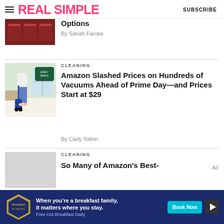REAL SIMPLE | SUBSCRIBE
[Figure (photo): Partial view of product boxes (dark red/brown packaging)]
Options
By Sanah Faroke
CLEANING
[Figure (photo): Woman using an upright vacuum cleaner on carpet near a window, with an early deals badge visible]
Amazon Slashed Prices on Hundreds of Vacuums Ahead of Prime Day—and Prices Start at $29
By Carly Totten
CLEANING
[Figure (photo): Light gray placeholder image for an article]
So Many of Amazon's Best-
[Figure (advertisement): Hampton by Hilton ad: When you're a breakfast family, it matters where you stay. Free Hot Breakfast Daily. Book Now button.]